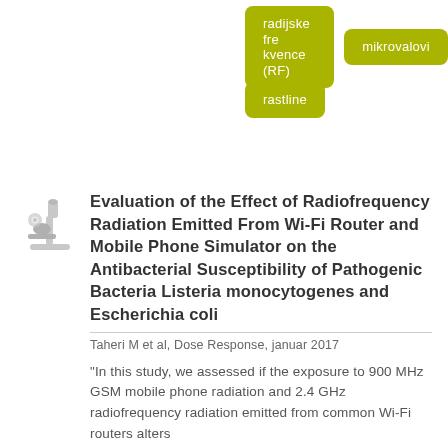radijske frekvence (RF)
mikrovalovi
rastline
[Figure (illustration): Microscope/science icon in light grey]
Evaluation of the Effect of Radiofrequency Radiation Emitted From Wi-Fi Router and Mobile Phone Simulator on the Antibacterial Susceptibility of Pathogenic Bacteria Listeria monocytogenes and Escherichia coli
Taheri M et al, Dose Response, januar 2017
"In this study, we assessed if the exposure to 900 MHz GSM mobile phone radiation and 2.4 GHz radiofrequency radiation emitted from common Wi-Fi routers alters